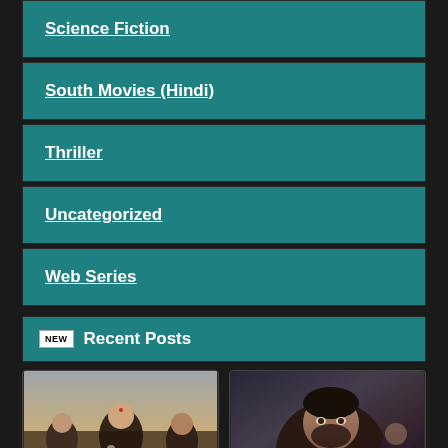Science Fiction
South Movies (Hindi)
Thriller
Uncategorized
Web Series
Recent Posts
[Figure (photo): Movie poster featuring Indian drama/political theme with multiple actors including a woman with bindi in foreground]
[Figure (photo): Movie poster featuring a male lead actor with beard and a woman in background, dark fantasy/thriller theme]